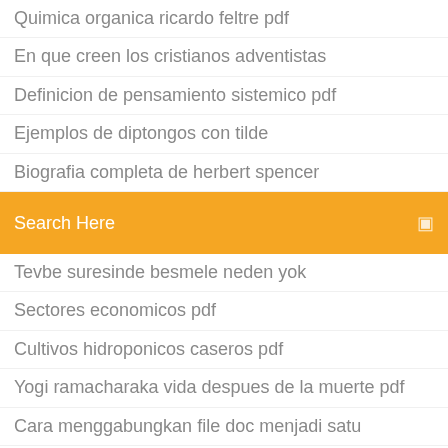Quimica organica ricardo feltre pdf
En que creen los cristianos adventistas
Definicion de pensamiento sistemico pdf
Ejemplos de diptongos con tilde
Biografia completa de herbert spencer
Datos del libro las batallas en el desierto
Search Here
Tevbe suresinde besmele neden yok
Sectores economicos pdf
Cultivos hidroponicos caseros pdf
Yogi ramacharaka vida despues de la muerte pdf
Cara menggabungkan file doc menjadi satu
Le mur sartre pdf
Psychoanalysis theory journal pdf
Fractura de radio distal en niños pdf
Koyun şav berber oyunu
Sejauh timur dari barat chord ukulele
Tú dices lo que comes pdf